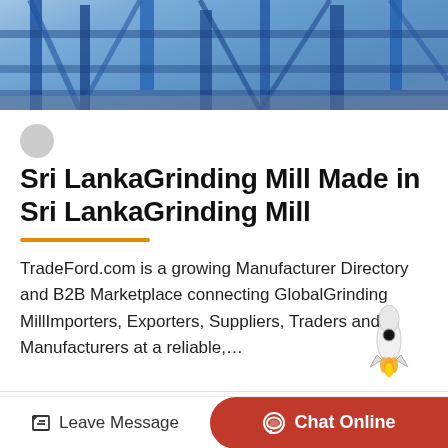[Figure (photo): Industrial machinery photo showing blue metal framework/equipment on outdoor ground]
Sri LankaGrinding Mill Made in Sri LankaGrinding Mill
TradeFord.com is a growing Manufacturer Directory and B2B Marketplace connecting GlobalGrinding MillImporters, Exporters, Suppliers, Traders and Manufacturers at a reliable,…
[Figure (photo): Industrial grinding mill equipment inside a building/factory]
Leave Message   Chat Online